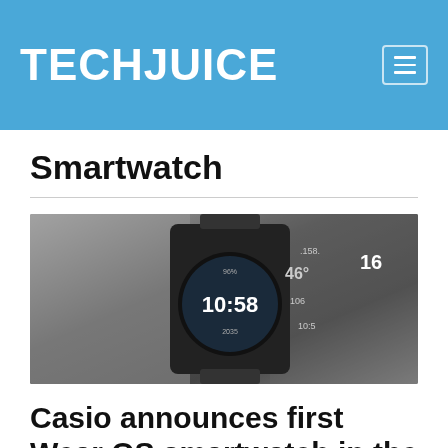TECHJUICE
Smartwatch
[Figure (photo): A Casio G-Shock smartwatch with Wear OS displayed prominently in the center, showing time 10:58 on its circular display. Background features a runner silhouette and digital fitness data overlays in black and white.]
Casio announces first Wear OS smartwatch in the G-shock